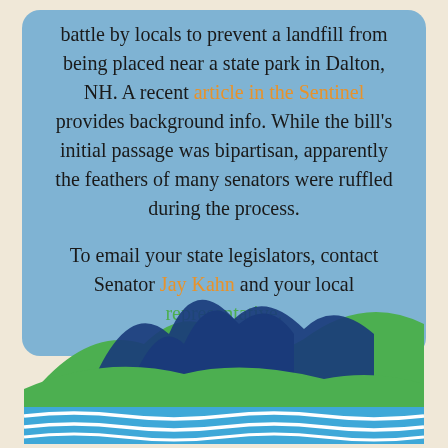battle by locals to prevent a landfill from being placed near a state park in Dalton, NH. A recent article in the Sentinel provides background info. While the bill's initial passage was bipartisan, apparently the feathers of many senators were ruffled during the process.

To email your state legislators, contact Senator Jay Kahn and your local representative.
[Figure (illustration): Stylized landscape logo showing blue and green mountain peaks above blue wavy water stripes with white wave lines]